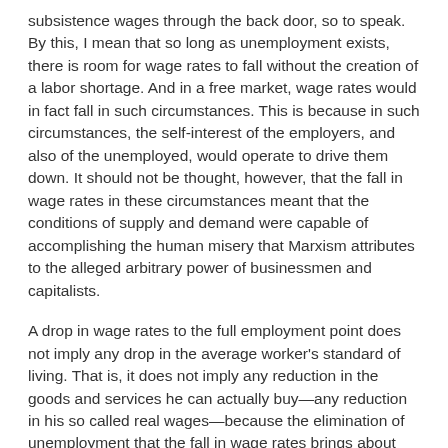subsistence wages through the back door, so to speak. By this, I mean that so long as unemployment exists, there is room for wage rates to fall without the creation of a labor shortage. And in a free market, wage rates would in fact fall in such circumstances. This is because in such circumstances, the self-interest of the employers, and also of the unemployed, would operate to drive them down. It should not be thought, however, that the fall in wage rates in these circumstances meant that the conditions of supply and demand were capable of accomplishing the human misery that Marxism attributes to the alleged arbitrary power of businessmen and capitalists.
A drop in wage rates to the full employment point does not imply any drop in the average worker's standard of living. That is, it does not imply any reduction in the goods and services he can actually buy—any reduction in his so called real wages—because the elimination of unemployment that the fall in wage rates brings about means more production and a fall in costs of production, both of which mean lower prices. Indeed, it is likely that real wages actually rise with the elimination of unemployment, even in the short run.